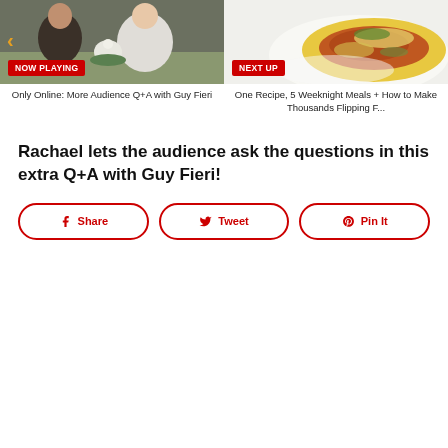[Figure (screenshot): Two video thumbnails side by side. Left: 'NOW PLAYING' badge, scene with people at a table. Right: 'NEXT UP' badge, pasta dish photo.]
Only Online: More Audience Q+A with Guy Fieri
One Recipe, 5 Weeknight Meals + How to Make Thousands Flipping F...
Rachael lets the audience ask the questions in this extra Q+A with Guy Fieri!
[Figure (infographic): Three social sharing buttons: Share (Facebook), Tweet (Twitter), Pin It (Pinterest)]